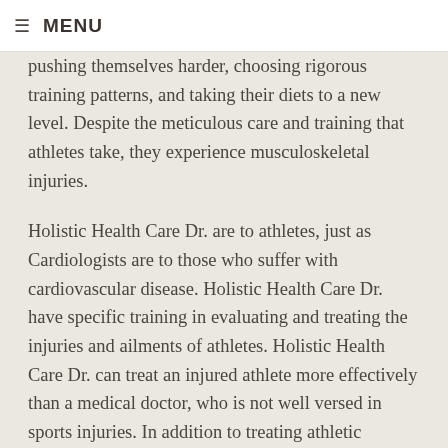≡ MENU
pushing themselves harder, choosing rigorous training patterns, and taking their diets to a new level. Despite the meticulous care and training that athletes take, they experience musculoskeletal injuries.
Holistic Health Care Dr. are to athletes, just as Cardiologists are to those who suffer with cardiovascular disease. Holistic Health Care Dr. have specific training in evaluating and treating the injuries and ailments of athletes. Holistic Health Care Dr. can treat an injured athlete more effectively than a medical doctor, who is not well versed in sports injuries. In addition to treating athletic injuries, the Holistic Health Care Dr. is skilled in aiding the athlete in injury prevention.
Athletes who receive treatment from a medical doctor find themselves frequently benched and on the sidelines.